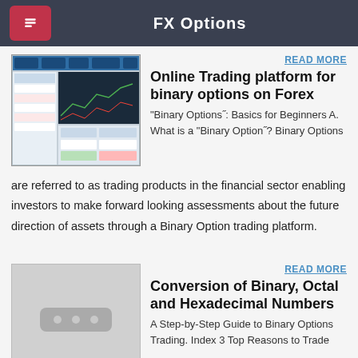FX Options
[Figure (screenshot): Screenshot of an online trading platform for binary options on Forex]
READ MORE
Online Trading platform for binary options on Forex
“Binary Optionsʺ: Basics for Beginners A. What is a “Binary Optionʺ? Binary Options are referred to as trading products in the financial sector enabling investors to make forward looking assessments about the future direction of assets through a Binary Option trading platform.
[Figure (illustration): Placeholder image with three dots]
READ MORE
Conversion of Binary, Octal and Hexadecimal Numbers
A Step-by-Step Guide to Binary Options Trading. Index 3 Top Reasons to Trade Binary Options 4 Binary Options: A History 5 How to Execute a Classic Trade with Binary Options 7 Advanced Binary Trading Tools